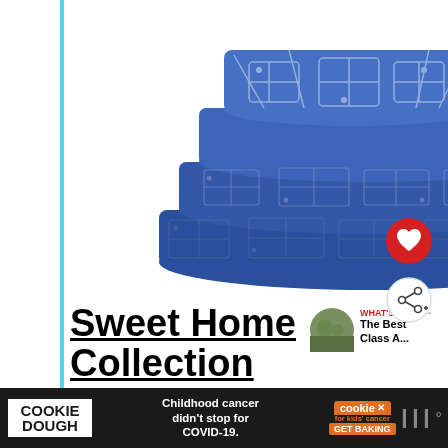[Figure (photo): Folded blue fabric sheet set with white geometric/abstract shibori-style pattern, stacked neatly.]
Sweet Home Collection
[Figure (illustration): Red circular heart/favorite button icon]
[Figure (illustration): Share button icon (circle with share symbol)]
[Figure (illustration): What's Next thumbnail with text: WHAT'S NEXT → The Best Class A...]
[Figure (illustration): Cookie Dough advertisement banner: COOKIE DOUGH | Childhood cancer didn't stop for COVID-19. | cookies for kids cancer GET BAKING]